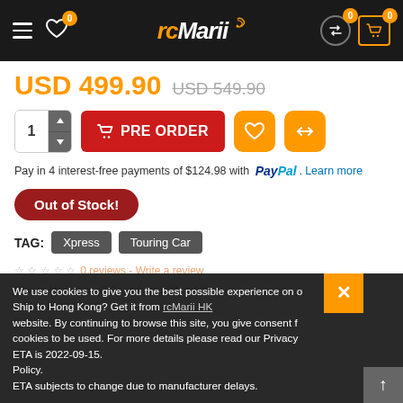rcMarii — navigation header with hamburger menu, wishlist icon (0), logo, account and cart icons (0)
USD 499.90 USD 549.90
1 PRE ORDER (quantity selector and pre-order button, plus wishlist and compare buttons)
Pay in 4 interest-free payments of $124.98 with PayPal. Learn more
Out of Stock!
TAG: Xpress Touring Car
0 reviews - Write a review
We use cookies to give you the best possible experience on our website. By continuing to browse this site, you give consent for cookies to be used. For more details please read our Privacy Policy.
Ship to Hong Kong? Get it from rcMarii HK
ETA is 2022-09-15. ETA subjects to change due to manufacturer delays.